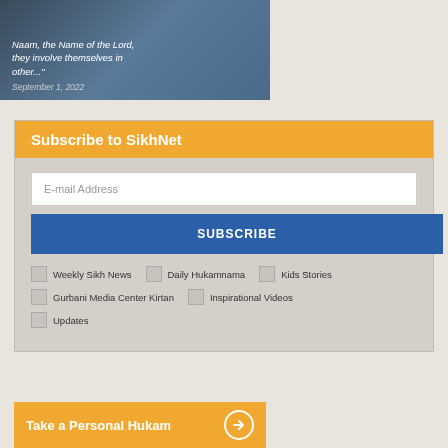[Figure (photo): Dark image of a bridge or road scene with italic white text overlay showing a partial quote and date September 1, 2022]
Subscribe to SikhNet
E-mail Address
SUBSCRIBE
Weekly Sikh News
Daily Hukamnama
Kids Stories
Gurbani Media Center Kirtan
Inspirational Videos
Updates
Take a Personal Hukam